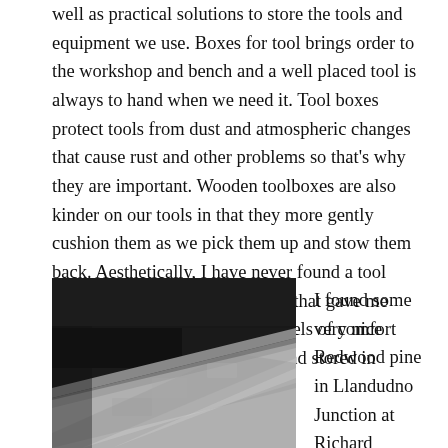well as practical solutions to store the tools and equipment we use. Boxes for tool brings order to the workshop and bench and a well placed tool is always to hand when we need it. Tool boxes protect tools from dust and atmospheric changes that cause rust and other problems so that’s why they are important. Wooden toolboxes are also kinder on our tools in that they more gently cushion them as we pick them up and stow them back. Aesthetically, I have never found a tool cabinet or box made from metal that gave me pleasure. I find much greater levels of comfort and peace with my tools fitted and stored in wooden cases and boxes.
[Figure (photo): Black and white photograph showing wooden boards or planks at an angle, with soft lighting on a workbench surface.]
I found some very nice Redwood pine in Llandudno Junction at Richard Williams builders merchants and bought several